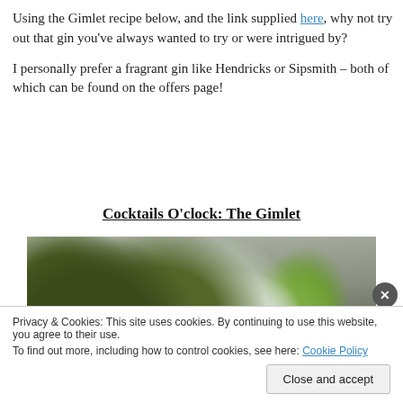Using the Gimlet recipe below, and the link supplied here, why not try out that gin you've always wanted to try or were intrigued by?

I personally prefer a fragrant gin like Hendricks or Sipsmith – both of which can be found on the offers page!
Cocktails O'clock: The Gimlet
[Figure (photo): Photo of a gimlet cocktail with limes in a bowl and a glass with ice and a lime wedge garnish]
Privacy & Cookies: This site uses cookies. By continuing to use this website, you agree to their use.
To find out more, including how to control cookies, see here: Cookie Policy

[Close and accept]